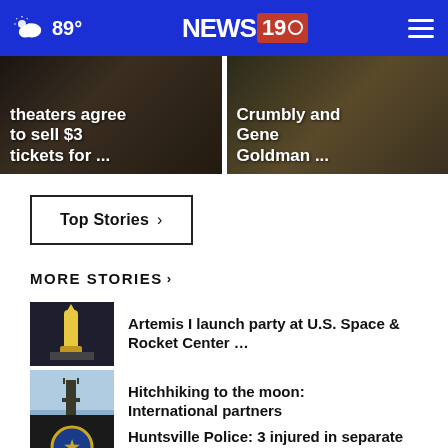89° NEWS 19
[Figure (screenshot): Left article card: theaters agree to sell $3 tickets for ...]
[Figure (screenshot): Right article card: Crumbly and Gene Goldman ...]
Top Stories ›
MORE STORIES ›
Artemis I launch party at U.S. Space & Rocket Center …
Hitchhiking to the moon: International partners
Huntsville Police: 3 injured in separate shootings